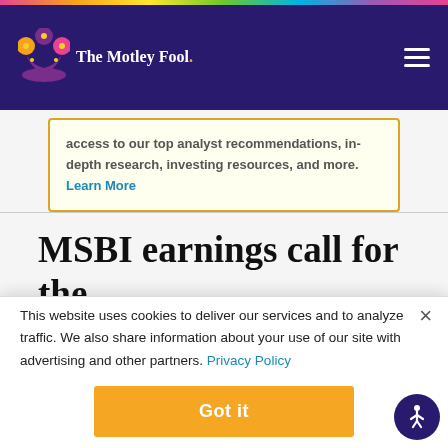The Motley Fool
access to our top analyst recommendations, in-depth research, investing resources, and more. Learn More
MSBI earnings call for the
This website uses cookies to deliver our services and to analyze traffic. We also share information about your use of our site with advertising and other partners. Privacy Policy
Got it
Cookie Settings